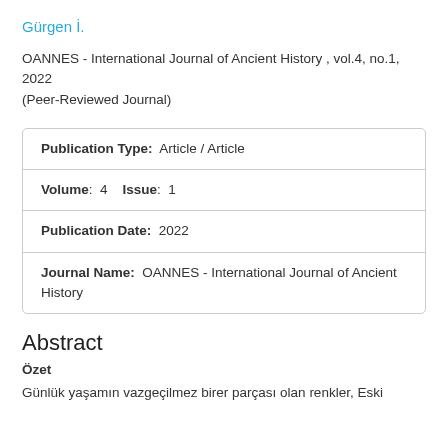Gürgen İ.
OANNES - International Journal of Ancient History , vol.4, no.1, 2022 (Peer-Reviewed Journal)
| Publication Type: | Article / Article |
| Volume: 4   Issue: 1 |  |
| Publication Date: | 2022 |
| Journal Name: | OANNES - International Journal of Ancient History |
Abstract
Özet
Günlük yaşamın vazgeçilmez birer parçası olan renkler, Eski